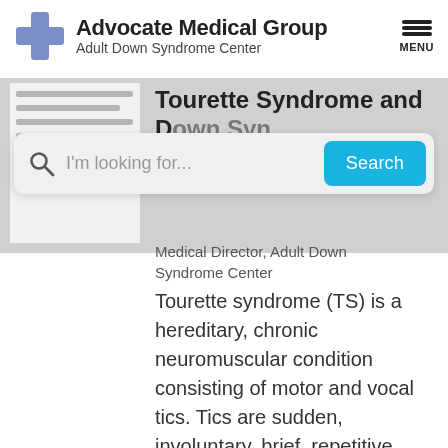Advocate Medical Group Adult Down Syndrome Center
[Figure (screenshot): Search bar overlay with text 'I'm looking for...' and a cyan Search button]
Tourette Syndrome and Down Syndrome
Medical Director, Adult Down Syndrome Center
Tourette syndrome (TS) is a hereditary, chronic neuromuscular condition consisting of motor and vocal tics. Tics are sudden, involuntary, brief, repetitive movements and vocalizations.  Motor